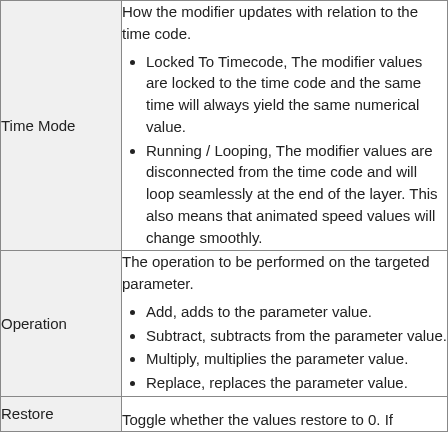| Property | Description |
| --- | --- |
| Time Mode | How the modifier updates with relation to the time code.
• Locked To Timecode, The modifier values are locked to the time code and the same time will always yield the same numerical value.
• Running / Looping, The modifier values are disconnected from the time code and will loop seamlessly at the end of the layer. This also means that animated speed values will change smoothly. |
| Operation | The operation to be performed on the targeted parameter.
• Add, adds to the parameter value.
• Subtract, subtracts from the parameter value.
• Multiply, multiplies the parameter value.
• Replace, replaces the parameter value. |
| Restore | Toggle whether the values restore to 0. If |